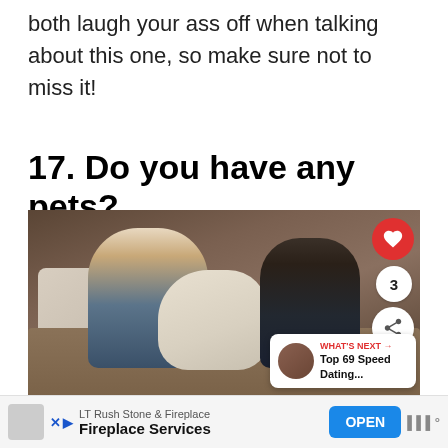both laugh your ass off when talking about this one, so make sure not to miss it!
17. Do you have any pets?
[Figure (photo): A couple sitting on a couch with a white fluffy dog and a dark cat. Social media overlay buttons visible on right side including heart, share count of 3, and share icon. 'What's Next' overlay in bottom right showing 'Top 69 Speed Dating...']
LT Rush Stone & Fireplace
Fireplace Services
OPEN